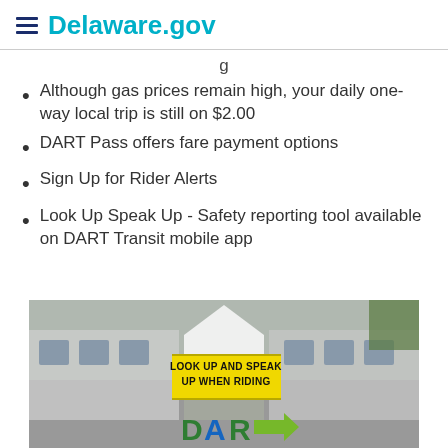Delaware.gov
g
Although gas prices remain high, your daily one-way local trip is still on $2.00
DART Pass offers fare payment options
Sign Up for Rider Alerts
Look Up Speak Up - Safety reporting tool available on DART Transit mobile app
[Figure (photo): A DART transit bus in the background with a 'LOOK UP AND SPEAK UP WHEN RIDING' yellow sign overlay and partial DART logo at the bottom]